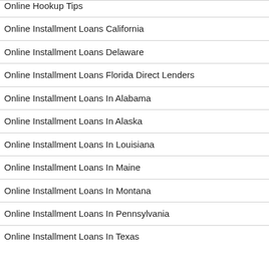Online Hookup Tips
Online Installment Loans California
Online Installment Loans Delaware
Online Installment Loans Florida Direct Lenders
Online Installment Loans In Alabama
Online Installment Loans In Alaska
Online Installment Loans In Louisiana
Online Installment Loans In Maine
Online Installment Loans In Montana
Online Installment Loans In Pennsylvania
Online Installment Loans In Texas